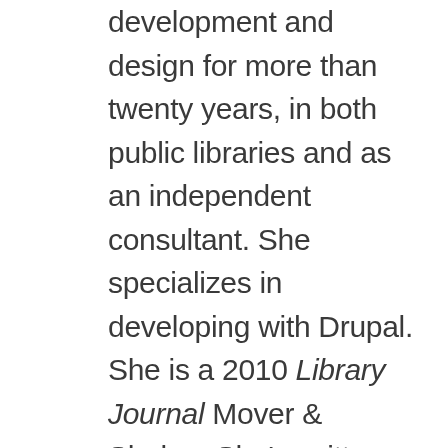development and design for more than twenty years, in both public libraries and as an independent consultant. She specializes in developing with Drupal. She is a 2010 Library Journal Mover & Shaker. She's written three books about social media and content marketing, specifically for libraries, and speaks nationally on both these and technology-related topics. As a former children's librarian, she enjoys bringing the “fun of technology” to audiences and in giving libraries the tools they need to better serve the